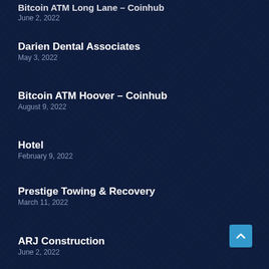Bitcoin ATM Long Lane – Coinhub
June 2, 2022
Darien Dental Associates
May 3, 2022
Bitcoin ATM Hoover – Coinhub
August 9, 2022
Hotel
February 9, 2022
Prestige Towing & Recovery
March 11, 2022
ARJ Construction
June 2, 2022